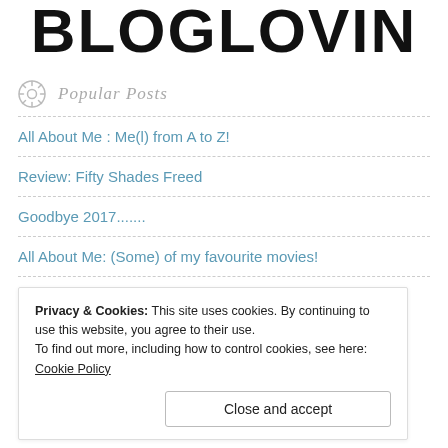BLOGLOVIN
Popular Posts
All About Me : Me(l) from A to Z!
Review: Fifty Shades Freed
Goodbye 2017.......
All About Me: (Some) of my favourite movies!
5 Simple Ways To Save Money
Privacy & Cookies: This site uses cookies. By continuing to use this website, you agree to their use.
To find out more, including how to control cookies, see here: Cookie Policy
Close and accept